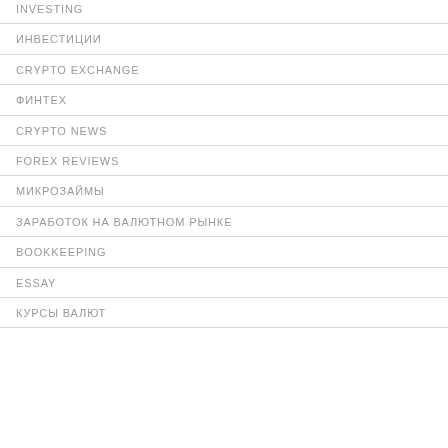INVESTING
ИНВЕСТИЦИИ
CRYPTO EXCHANGE
ФИНТЕХ
CRYPTO NEWS
FOREX REVIEWS
МИКРОЗАЙМЫ
ЗАРАБОТОК НА ВАЛЮТНОМ РЫНКЕ
BOOKKEEPING
ESSAY
КУРСЫ ВАЛЮТ